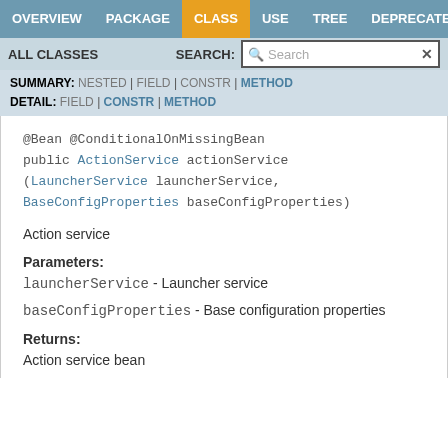OVERVIEW  PACKAGE  CLASS  USE  TREE  DEPRECATED
ALL CLASSES  SEARCH:
SUMMARY: NESTED | FIELD | CONSTR | METHOD  DETAIL: FIELD | CONSTR | METHOD
@Bean @ConditionalOnMissingBean
public ActionService actionService
(LauncherService launcherService,
BaseConfigProperties baseConfigProperties)
Action service
Parameters:
launcherService - Launcher service
baseConfigProperties - Base configuration properties
Returns:
Action service bean